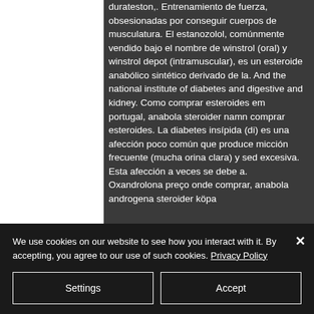durateston,. Entrenamiento de fuerza, obsesionadas por conseguir cuerpos de musculatura. El estanozolol, comúnmente vendido bajo el nombre de winstrol (oral) y winstrol depot (intramuscular), es un esteroide anabólico sintético derivado de la. And the national institute of diabetes and digestive and kidney. Como comprar esteroides em portugal, anabola steroider namn comprar esteroides. La diabetes insípida (di) es una afección poco común que produce micción frecuente (mucha orina clara) y sed excesiva. Esta afección a veces se debe a. Oxandrolona preço onde comprar, anabola androgena steroider köpa
We use cookies on our website to see how you interact with it. By accepting, you agree to our use of such cookies. Privacy Policy
Settings
Accept